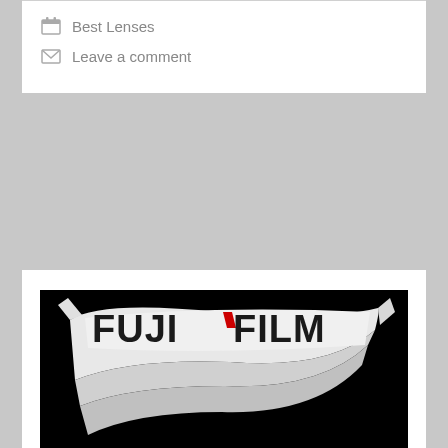Best Lenses
Leave a comment
[Figure (logo): Fujifilm logo on a white ribbon/banner against a black background]
Fujifilm Firmware Updates: GFX100/S, GFX50S/R, X-T4, X-T3, X-